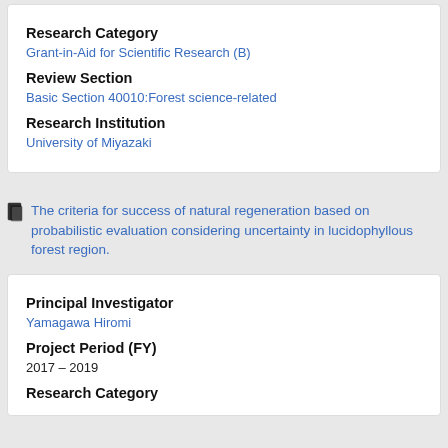Research Category
Grant-in-Aid for Scientific Research (B)
Review Section
Basic Section 40010:Forest science-related
Research Institution
University of Miyazaki
The criteria for success of natural regeneration based on probabilistic evaluation considering uncertainty in lucidophyllous forest region.
Principal Investigator
Yamagawa Hiromi
Project Period (FY)
2017 – 2019
Research Category